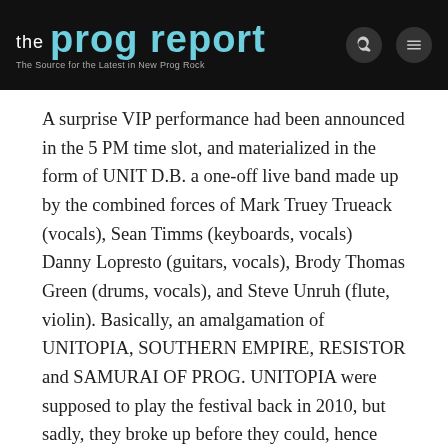the prog report – The Source for the Latest in New Prog Rock
A surprise VIP performance had been announced in the 5 PM time slot, and materialized in the form of UNIT D.B. a one-off live band made up by the combined forces of Mark Truey Trueack (vocals), Sean Timms (keyboards, vocals) Danny Lopresto (guitars, vocals), Brody Thomas Green (drums, vocals), and Steve Unruh (flute, violin). Basically, an amalgamation of UNITOPIA, SOUTHERN EMPIRE, RESISTOR and SAMURAI OF PROG. UNITOPIA were supposed to play the festival back in 2010, but sadly, they broke up before they could, hence this specific show was a kind of a long overdue apparition by the Aussies. I was impressed and really enjoyed their presentation, despite not being familiar with UNITOPIA's back catalog or any of the other splinter